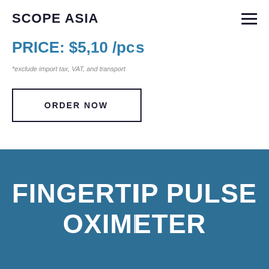SCOPE ASIA
PRICE: $5,10 /pcs
*exclude import tax, VAT, and transport
ORDER NOW
FINGERTIP PULSE OXIMETER